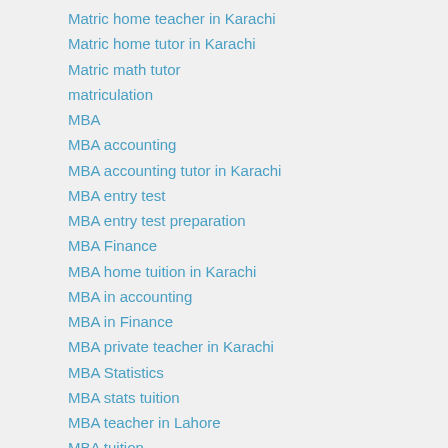Matric home teacher in Karachi
Matric home tutor in Karachi
Matric math tutor
matriculation
MBA
MBA accounting
MBA accounting tutor in Karachi
MBA entry test
MBA entry test preparation
MBA Finance
MBA home tuition in Karachi
MBA in accounting
MBA in Finance
MBA private teacher in Karachi
MBA Statistics
MBA stats tuition
MBA teacher in Lahore
MBA tuition
MCAT
Microsoft Azure
Microsoft Azure trainer
Multan
Music Academy